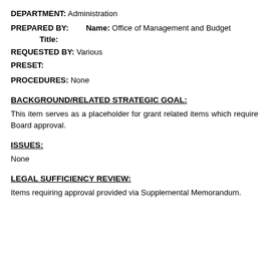DEPARTMENT: Administration
PREPARED BY:    Name: Office of Management and Budget
        Title:
REQUESTED BY: Various
PRESET:
PROCEDURES: None
BACKGROUND/RELATED STRATEGIC GOAL:
This item serves as a placeholder for grant related items which require Board approval.
ISSUES:
None
LEGAL SUFFICIENCY REVIEW:
Items requiring approval provided via Supplemental Memorandum.